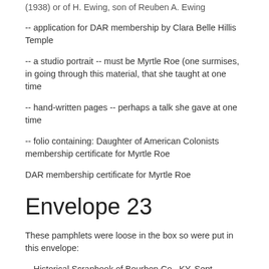(1938) or of H. Ewing, son of Reuben A. Ewing
-- application for DAR membership by Clara Belle Hillis Temple
-- a studio portrait -- must be Myrtle Roe (one surmises, in going through this material, that she taught at one time
-- hand-written pages -- perhaps a talk she gave at one time
-- folio containing: Daughter of American Colonists membership certificate for Myrtle Roe
DAR membership certificate for Myrtle Roe
Envelope 23
These pamphlets were loose in the box so were put in this envelope:
-- Historical Scrapbook of Bourbon Co., KY, Sept 3,4,5,6, 1939, Paris, KY